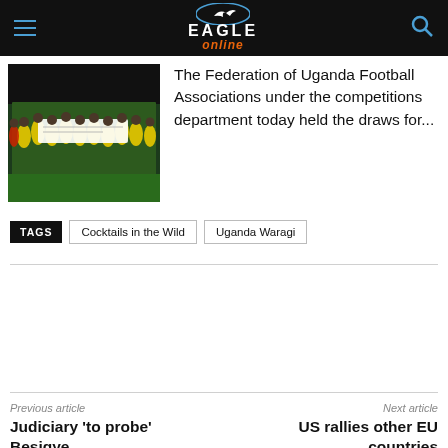Eagle Online — navigation bar with hamburger menu, logo, and search icon
[Figure (photo): Group of football players in yellow jerseys holding a large cheque, standing on a pitch]
The Federation of Uganda Football Associations under the competitions department today held the draws for...
TAGS  Cocktails in the Wild  Uganda Waragi
Previous article
Judiciary 'to probe' Besigye
Next article
US rallies other EU countries